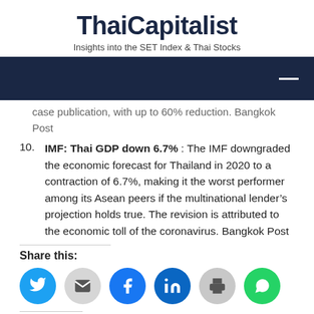ThaiCapitalist
Insights into the SET Index & Thai Stocks
[Figure (other): Dark navy navigation bar with white hamburger menu icon on right]
case publication, with up to 60% reduction. Bangkok Post
10. IMF: Thai GDP down 6.7% : The IMF downgraded the economic forecast for Thailand in 2020 to a contraction of 6.7%, making it the worst performer among its Asean peers if the multinational lender's projection holds true. The revision is attributed to the economic toll of the coronavirus. Bangkok Post
Share this:
[Figure (infographic): Row of social sharing icon circles: Twitter (blue), Email (gray), Facebook (blue), LinkedIn (dark blue), Print (gray), WhatsApp (green)]
Related